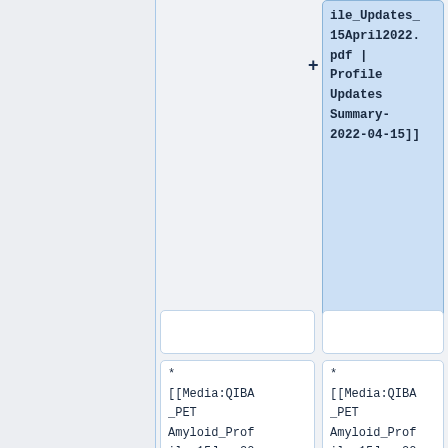ile_Updates_15April2022.pdf | Profile Updates Summary-2022-04-15]]
------------- ----------- ----------- ----------- ----------
* [[Media:QIBA_PET Amyloid_Profile_15June2017-post-public-
* [[Media:QIBA_PET Amyloid_Profile_15June2017-post-public-